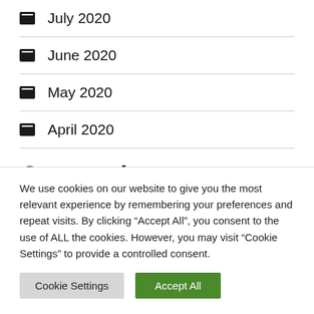July 2020
June 2020
May 2020
April 2020
Categories
We use cookies on our website to give you the most relevant experience by remembering your preferences and repeat visits. By clicking “Accept All”, you consent to the use of ALL the cookies. However, you may visit “Cookie Settings” to provide a controlled consent.
Cookie Settings | Accept All